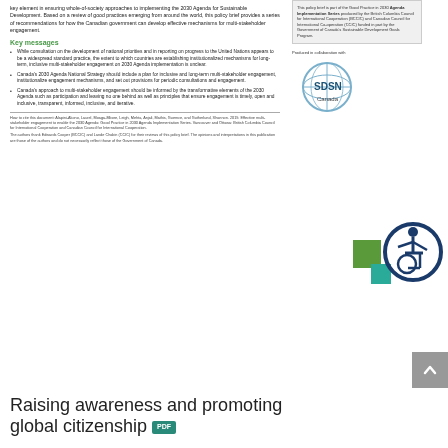key element in ensuring whole-of-society approaches to implementing the 2030 Agenda for Sustainable Development. Based on a review of good practices emerging from around the world, this policy brief provides a series of recommendations for how the Canadian government can develop effective mechanisms for multi-stakeholder engagement.
Key messages
While consultation on the development of national priorities and in reporting on progress to the United Nations appears to be a widespread standard practice, the extent to which countries are establishing institutionalized mechanisms for long-term, inclusive multi-stakeholder engagement on 2030 Agenda implementation is unclear.
Canada's 2030 Agenda National Strategy should include a plan for inclusive and long-term multi-stakeholder engagement, institutionalize engagement mechanisms, and set out provisions for periodic consultations and engagement.
Canada's approach to multi-stakeholder engagement should be informed by the transformative elements of the 2030 Agenda such as participation and leaving no one behind as well as principles that ensure engagement is timely, open and inclusive, transparent, informed, inclusive, and iterative.
This policy brief is part of the Good Practice in 2030 Agenda Implementation Series produced by the British Columbia Council for International Cooperation (BCCIC) and Canadian Council for International Co-operation (CCIC) funded in part by the Government of Canada's Sustainable Development Goals Program.
Produced in collaboration with
[Figure (logo): SDSN Canada logo - circular design with text SDSN Canada]
How to cite this document: Alapini-Akono, Laurel, Moaga-Mbore, Leigh, Mehta, Anjali, Mathis, Guemce, and Gutherlund, Shannon. 2019. Effective multi-stakeholder engagement to enable the 2030 Agenda: Good Practice in 2030 Agenda Implementation Series. Vancouver and Ottawa: British Columbia Council for International Cooperation and Canadian Council for International Cooperation.
The authors thank Edwards Cooper (BCCIC) and Lande Chabin (CCIC) for their reviews of this policy brief. The opinions and interpretations in this publication are those of the authors and do not necessarily reflect those of the Government of Canada.
[Figure (illustration): Accessibility icon - circular icon with wheelchair user symbol, with green and teal colored squares]
Raising awareness and promoting global citizenship
PDF